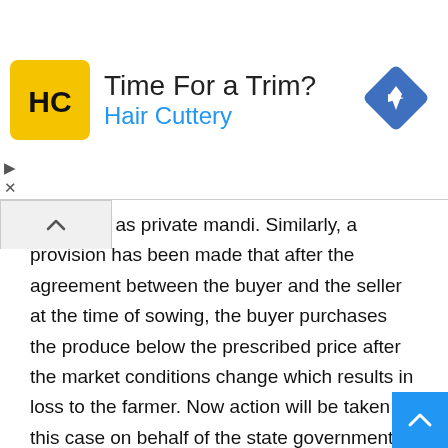[Figure (other): Hair Cuttery advertisement banner with yellow logo, text 'Time For a Trim?' and 'Hair Cuttery' in blue, and a blue diamond navigation icon on the right]
er as well as private mandi. Similarly, a provision has been made that after the agreement between the buyer and the seller at the time of sowing, the buyer purchases the produce below the prescribed price after the market conditions change which results in loss to the farmer. Now action will be taken in this case on behalf of the state government.
Chief Minister Chouhan also gave an example of purchasing funds at the highest price from farmers in Hoshangabad district recently. In this case the Rice Company refused to purchase produce from the farmers when the price of paddy in the market increased. Thus farmers got fair price for their produce due to awareness of farmers and action by the administration.